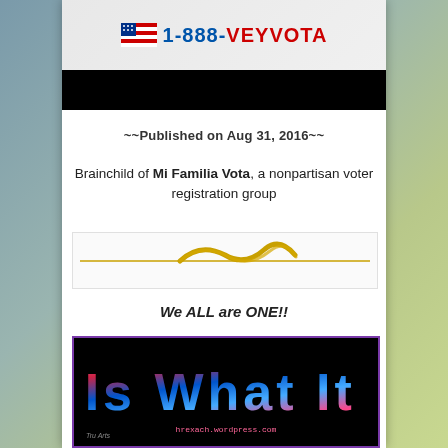[Figure (photo): Banner image showing American flag icon and phone number 1-888-VEYVOTA in red, followed by a black bar below]
~~Published on Aug 31, 2016~~
Brainchild of Mi Familia Vota, a nonpartisan voter registration group
[Figure (illustration): Decorative gold wave/swirl divider line on light background]
We ALL are ONE!!
[Figure (photo): Image with colorful stylized text reading 'It Is What It Is' with American flag pattern inside letters on black background, with hrexach.wordpress.com and Tru Arts labels]